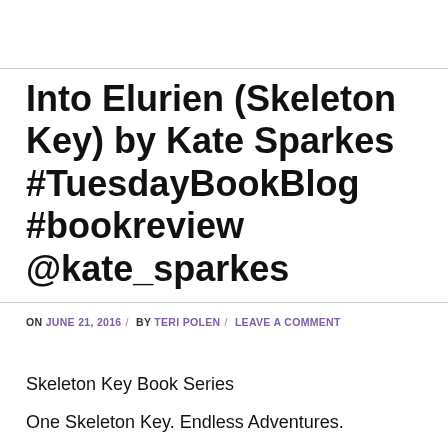Into Elurien (Skeleton Key) by Kate Sparkes #TuesdayBookBlog #bookreview @kate_sparkes
ON JUNE 21, 2016 / BY TERI POLEN / LEAVE A COMMENT
Skeleton Key Book Series
One Skeleton Key. Endless Adventures.
https://skeletonkeybookseries.com